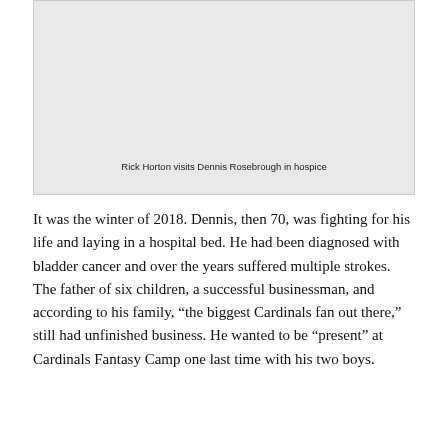[Figure (photo): Photo of Rick Horton visiting Dennis Rosebrough in hospice]
Rick Horton visits Dennis Rosebrough in hospice
It was the winter of 2018. Dennis, then 70, was fighting for his life and laying in a hospital bed. He had been diagnosed with bladder cancer and over the years suffered multiple strokes. The father of six children, a successful businessman, and according to his family, “the biggest Cardinals fan out there,” still had unfinished business. He wanted to be “present” at Cardinals Fantasy Camp one last time with his two boys.